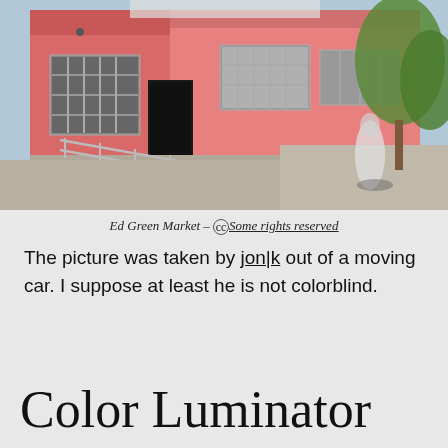[Figure (photo): Photo of a pink building (Ed Green Market) with barred windows, a ramp with metal railings, and a blurred figure walking on the sidewalk. Trees visible on the right side.]
Ed Green Market – © Some rights reserved
The picture was taken by jon|k out of a moving car. I suppose at least he is not colorblind.
Color Luminator